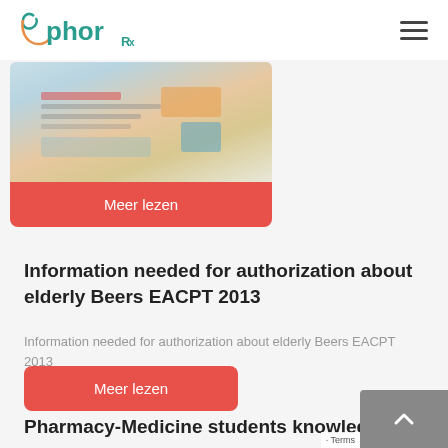Ephor
[Figure (illustration): Card with an image overlay containing a 'Meer lezen' red button at the bottom]
Information needed for authorization about elderly Beers EACPT 2013
Information needed for authorization about elderly Beers EACPT 2013
Meer lezen
Pharmacy-Medicine students knowledge